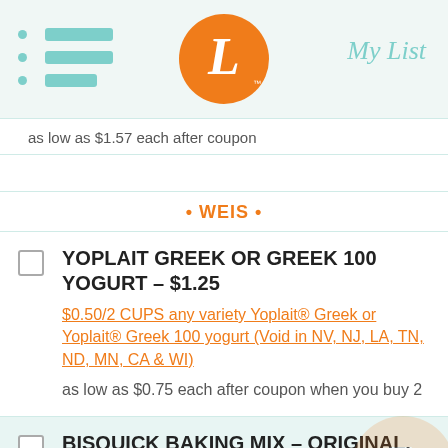[Figure (logo): Orange circle logo with stylized L and My List text header]
as low as $1.57 each after coupon
• WEIS •
YOPLAIT GREEK OR GREEK 100 YOGURT – $1.25
$0.50/2 CUPS any variety Yoplait® Greek or Yoplait® Greek 100 yogurt (Void in NV, NJ, LA, TN, ND, MN, CA & WI)
as low as $0.75 each after coupon when you buy 2
BISQUICK BAKING MIX – ORIGINAL, ALL PURPOSE 20.00 OZ – $2.39
$0.75/1 20 OZ. OR LARGER Original